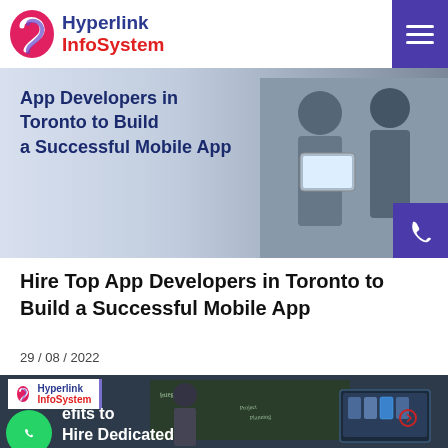Hyperlink InfoSystem
[Figure (photo): Banner image showing two people holding tablet devices with text overlay: App Developers in Toronto to Build a Successful Mobile App]
Hire Top App Developers in Toronto to Build a Successful Mobile App
29 / 08 / 2022
[Figure (photo): Second article thumbnail: person at chalkboard with mobile app screens on monitor, with Hyperlink InfoSystem logo, WhatsApp icon, and partial text: Benefits to Hire Dedicated]